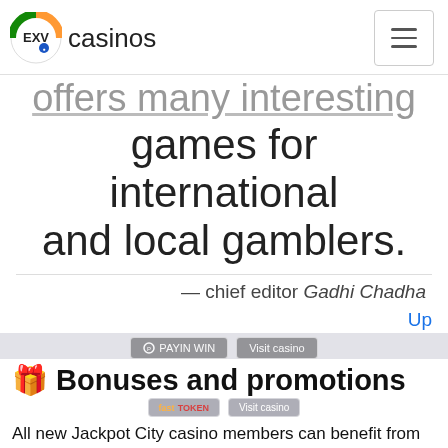EXV casinos
offers many interesting games for international and local gamblers.
— chief editor Gadhi Chadha
Up
🎁 Bonuses and promotions
All new Jackpot City casino members can benefit from the 200% bonus that is available after you create an account and deposit funds. Additionally to money, you will get